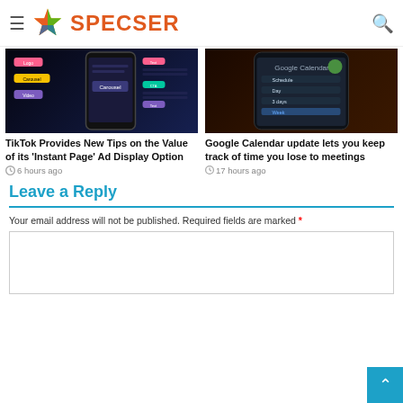SPECSER
[Figure (screenshot): TikTok Instant Page ad display tips infographic on dark background]
TikTok Provides New Tips on the Value of its ‘Instant Page’ Ad Display Option
6 hours ago
[Figure (screenshot): Google Calendar app on smartphone showing dark themed interface]
Google Calendar update lets you keep track of time you lose to meetings
17 hours ago
Leave a Reply
Your email address will not be published. Required fields are marked *